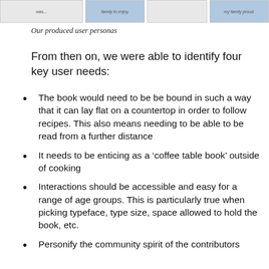[Figure (other): Partial view of user persona cards at the top of the page]
Our produced user personas
From then on, we were able to identify four key user needs:
The book would need to be be bound in such a way that it can lay flat on a countertop in order to follow recipes. This also means needing to be able to be read from a further distance
It needs to be enticing as a ‘coffee table book’ outside of cooking
Interactions should be accessible and easy for a range of age groups. This is particularly true when picking typeface, type size, space allowed to hold the book, etc.
Personify the community spirit of the contributors